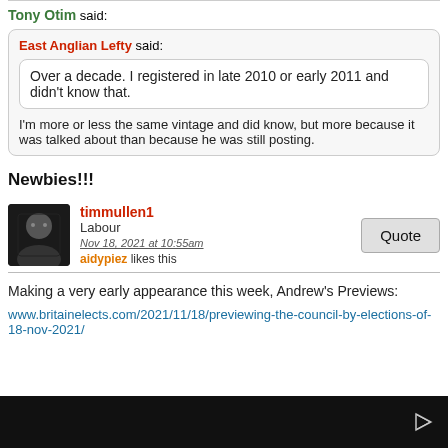Tony Otim said:
East Anglian Lefty said:
Over a decade. I registered in late 2010 or early 2011 and didn't know that.
I'm more or less the same vintage and did know, but more because it was talked about than because he was still posting.
Newbies!!!
timmullen1
Labour
Nov 18, 2021 at 10:55am
aidypiez likes this
Making a very early appearance this week, Andrew's Previews:
www.britainelects.com/2021/11/18/previewing-the-council-by-elections-of-18-nov-2021/